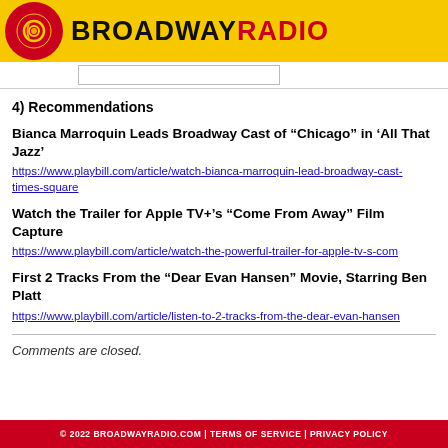BROADWAYRADIO
4) Recommendations
Bianca Marroquin Leads Broadway Cast of “Chicago” in ‘All That Jazz’
https://www.playbill.com/article/watch-bianca-marroquin-lead-broadway-cast-times-square
Watch the Trailer for Apple TV+’s “Come From Away” Film Capture
https://www.playbill.com/article/watch-the-powerful-trailer-for-apple-tv-s-com
First 2 Tracks From the “Dear Evan Hansen” Movie, Starring Ben Platt
https://www.playbill.com/article/listen-to-2-tracks-from-the-dear-evan-hansen
Comments are closed.
© 2022 BROADWAYRADIO.COM | TERMS OF SERVICE | PRIVACY POLICY